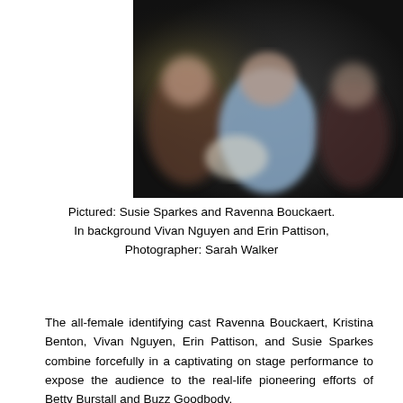[Figure (photo): Blurred group photo of people on a dark background. A person in a light blue top is visible in the center, with others partially visible on either side.]
Pictured: Susie Sparkes and Ravenna Bouckaert. In background Vivan Nguyen and Erin Pattison, Photographer: Sarah Walker
The all-female identifying cast Ravenna Bouckaert, Kristina Benton, Vivan Nguyen, Erin Pattison, and Susie Sparkes combine forcefully in a captivating on stage performance to expose the audience to the real-life pioneering efforts of Betty Burstall and Buzz Goodbody.